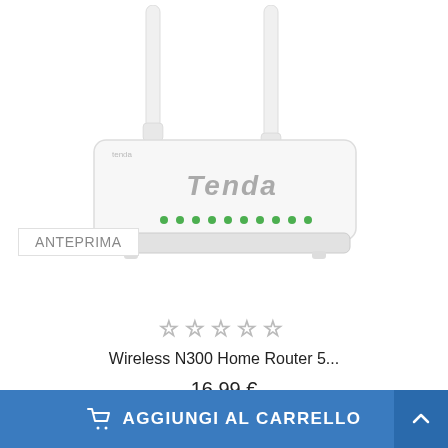[Figure (photo): Tenda Wireless N300 Home Router with two white external antennas, white body with green LED indicator lights and Tenda logo on top, viewed from a slight angle above. An 'ANTEPRIMA' (preview) badge overlays the lower-left corner of the product image.]
☆ ☆ ☆ ☆ ☆
Wireless N300 Home Router 5...
16,99 €
AGGIUNGI AL CARRELLO